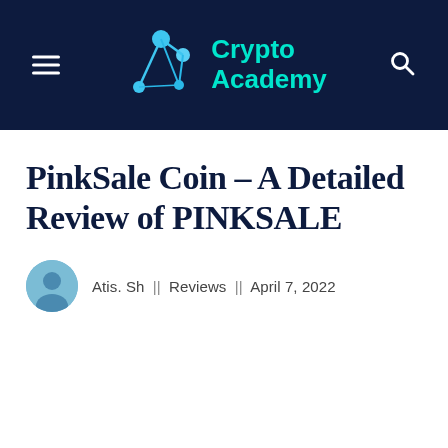Crypto Academy
PinkSale Coin – A Detailed Review of PINKSALE
Atis. Sh || Reviews || April 7, 2022